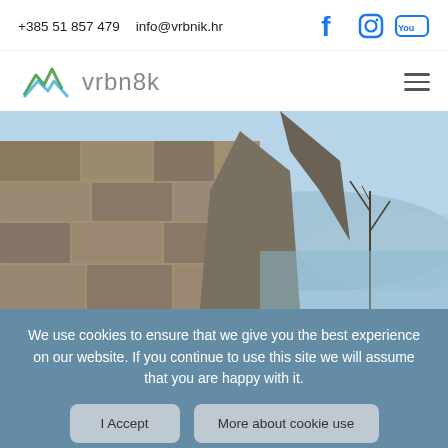+385 51 857 479    info@vrbnik.hr
[Figure (logo): Vrbnik tourism website logo with mountain/wave icon and text 'vrbn8k']
[Figure (photo): Scenic photo of a stone wall ruins with a tree and hazy blue mountains/sea in the background, Vrbnik Croatia]
We use cookies to ensure that we give you the best experience on our website. If you continue to use this site we will assume that you are happy with it.
I Accept
More about cookie use